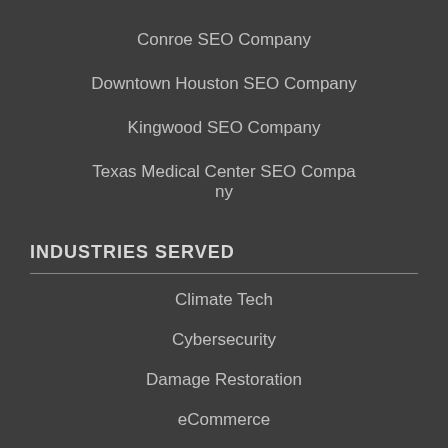Conroe SEO Company
Downtown Houston SEO Company
Kingwood SEO Company
Texas Medical Center SEO Company
INDUSTRIES SERVED
Climate Tech
Cybersecurity
Damage Restoration
eCommerce
Franchises